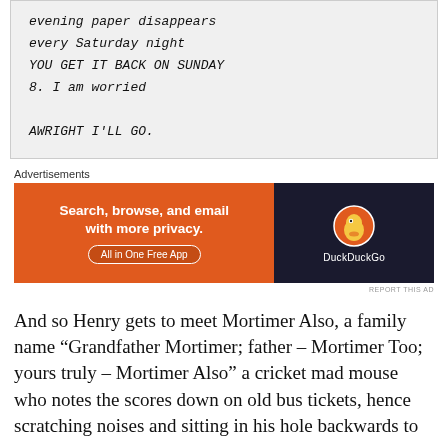evening paper disappears
every Saturday night
YOU GET IT BACK ON SUNDAY
8. I am worried
AWRIGHT I'LL GO.
Advertisements
[Figure (other): DuckDuckGo advertisement banner: orange left side with text 'Search, browse, and email with more privacy. All in One Free App', dark right side with DuckDuckGo duck logo and brand name.]
REPORT THIS AD
And so Henry gets to meet Mortimer Also, a family name “Grandfather Mortimer; father – Mortimer Too; yours truly – Mortimer Also” a cricket mad mouse who notes the scores down on old bus tickets, hence scratching noises and sitting in his hole backwards to